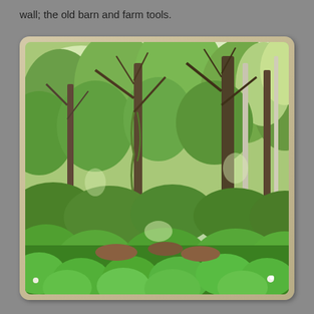wall; the old barn and farm tools.
[Figure (photo): Photograph of a dense forest scene with tall trees, green leafy canopy, tangled branches, vines, and large leafy ground cover plants in the foreground. The scene is lush and summery with dappled light filtering through the trees. The photo has a vintage style with a tan/beige rounded border frame.]